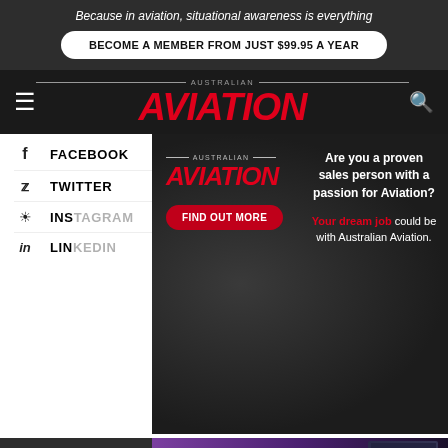Because in aviation, situational awareness is everything
BECOME A MEMBER FROM JUST $99.95 A YEAR
[Figure (logo): Australian Aviation magazine logo with AVIATION in large red italic text and AUSTRALIAN in small caps above]
FACEBOOK
TWITTER
INSTAGRAM
LINKEDIN
[Figure (advertisement): Australian Aviation job ad overlay: Are you a proven sales person with a passion for Aviation? Your dream job could be with Australian Aviation. FIND OUT MORE button.]
[Figure (advertisement): QinetiQ banner ad: Enabling critical UAS technologies]
READ